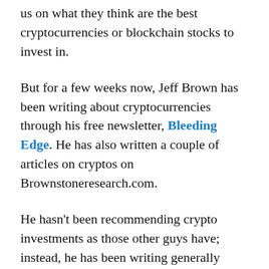us on what they think are the best cryptocurrencies or blockchain stocks to invest in.
But for a few weeks now, Jeff Brown has been writing about cryptocurrencies through his free newsletter, Bleeding Edge. He has also written a couple of articles on cryptos on Brownstoneresearch.com.
He hasn't been recommending crypto investments as those other guys have; instead, he has been writing generally about trends in the cryptocurrency space.